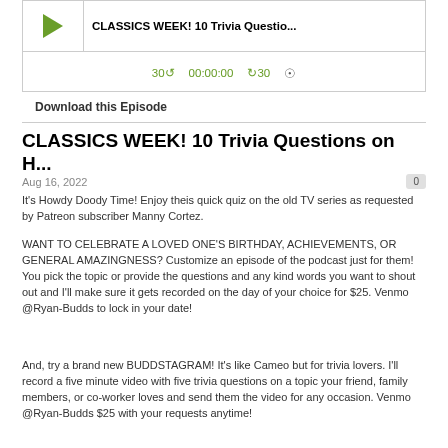[Figure (screenshot): Podcast audio player widget with play button, title 'CLASSICS WEEK! 10 Trivia Questio...', progress bar, and controls showing 30-second rewind, 00:00:00 timestamp, 30-second forward, and RSS/wifi icon]
Download this Episode
CLASSICS WEEK! 10 Trivia Questions on H...
Aug 16, 2022
It's Howdy Doody Time! Enjoy theis quick quiz on the old TV series as requested by Patreon subscriber Manny Cortez.
WANT TO CELEBRATE A LOVED ONE'S BIRTHDAY, ACHIEVEMENTS, OR GENERAL AMAZINGNESS? Customize an episode of the podcast just for them! You pick the topic or provide the questions and any kind words you want to shout out and I'll make sure it gets recorded on the day of your choice for $25. Venmo @Ryan-Budds to lock in your date!
And, try a brand new BUDDSTAGRAM! It's like Cameo but for trivia lovers. I'll record a five minute video with five trivia questions on a topic your friend, family members, or co-worker loves and send them the video for any occasion. Venmo @Ryan-Budds $25 with your requests anytime!